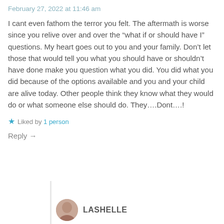February 27, 2022 at 11:46 am
I cant even fathom the terror you felt. The aftermath is worse since you relive over and over the “what if or should have I” questions. My heart goes out to you and your family. Don’t let those that would tell you what you should have or shouldn’t have done make you question what you did. You did what you did because of the options available and you and your child are alive today. Other people think they know what they would do or what someone else should do. They….Dont….!
Liked by 1 person
Reply →
LASHELLE